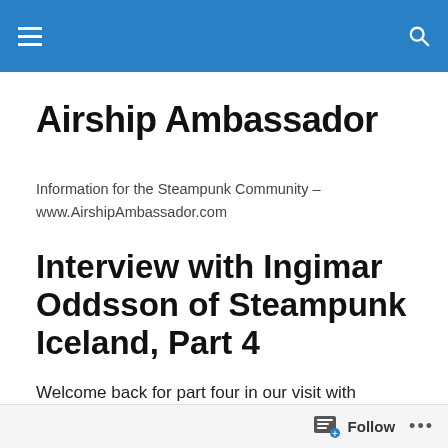Airship Ambassador – navigation bar
Airship Ambassador
Information for the Steampunk Community – www.AirshipAmbassador.com
Interview with Ingimar Oddsson of Steampunk Iceland, Part 4
Welcome back for part four in our visit with Ingimar Oddsson, organizer of the Steampunk Festival in Iceland.
Follow